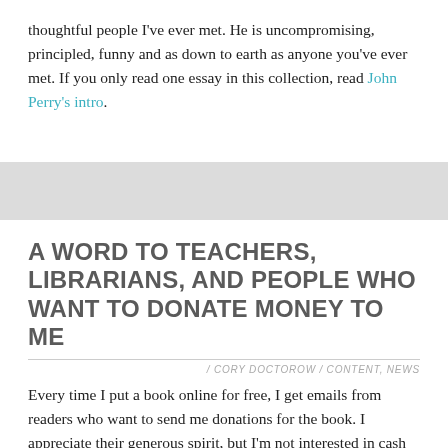thoughtful people I've ever met. He is uncompromising, principled, funny and as down to earth as anyone you've ever met. If you only read one essay in this collection, read John Perry's intro.
A WORD TO TEACHERS, LIBRARIANS, AND PEOPLE WHO WANT TO DONATE MONEY TO ME
/ CORY DOCTOROW / CONTENT, NEWS
Every time I put a book online for free, I get emails from readers who want to send me donations for the book. I appreciate their generous spirit, but I'm not interested in cash donations, because my publishers